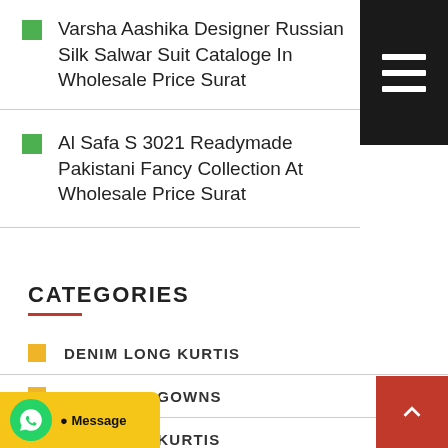Varsha Aashika Designer Russian Silk Salwar Suit Cataloge In Wholesale Price Surat
Al Safa S 3021 Readymade Pakistani Fancy Collection At Wholesale Price Surat
CATEGORIES
DENIM LONG KURTIS
DESIGNER GOWNS
DESIGNER KURTIS
DESIGNER SALWAR SUIT
NIGHT SUITS